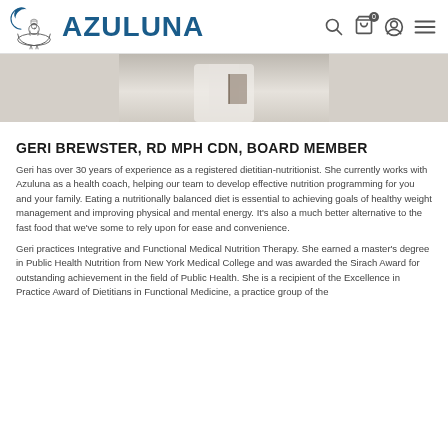AZULUNA
[Figure (photo): Partial photo of a person in white clothing, cropped at the top, showing mid-body area against a light background.]
GERI BREWSTER, RD MPH CDN, BOARD MEMBER
Geri has over 30 years of experience as a registered dietitian-nutritionist. She currently works with Azuluna as a health coach, helping our team to develop effective nutrition programming for you and your family. Eating a nutritionally balanced diet is essential to achieving goals of healthy weight management and improving physical and mental energy. It's also a much better alternative to the fast food that we've some to rely upon for ease and convenience.
Geri practices Integrative and Functional Medical Nutrition Therapy. She earned a master's degree in Public Health Nutrition from New York Medical College and was awarded the Sirach Award for outstanding achievement in the field of Public Health. She is a recipient of the Excellence in Practice Award of Dietitians in Functional Medicine, a practice group of the